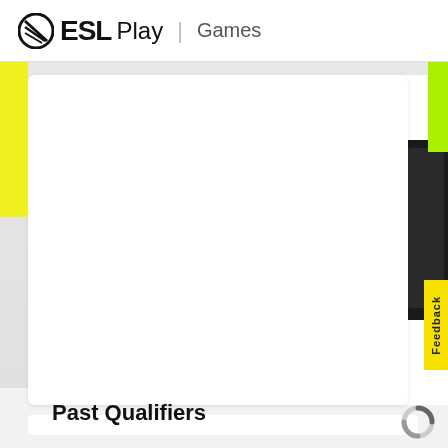ESL Play | Games
Community
@PlayStationAsia
fb.com/PlayStationAsia/
instagram.com/playstationasia/
Past Qualifiers